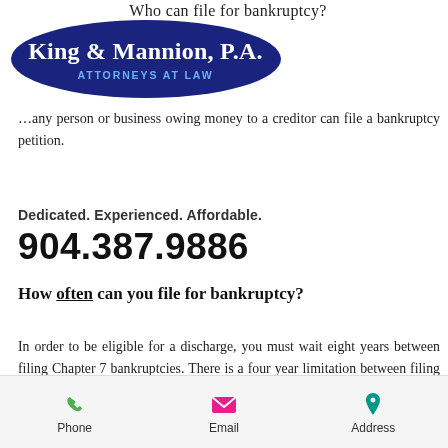Who can file for bankruptcy?
[Figure (logo): King & Mannion, P.A. Attorneys at Law logo on dark blue ellipse background]
…any person or business owing money to a creditor can file a bankruptcy petition.
Dedicated. Experienced. Affordable.
904.387.9886
How often can you file for bankruptcy?
In order to be eligible for a discharge, you must wait eight years between filing Chapter 7 bankruptcies. There is a four year limitation between filing a Chapter 7 and filing a Chapter 13 bankruptcy. There is a two year…
Phone   Email   Address